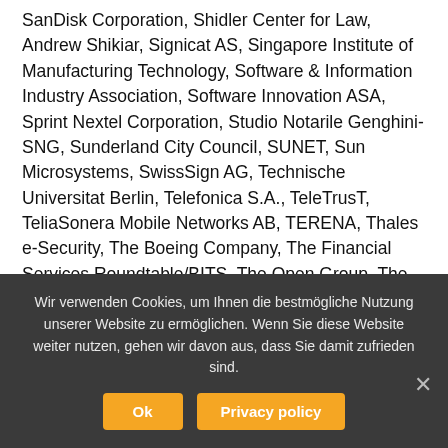SanDisk Corporation, Shidler Center for Law, Andrew Shikiar, Signicat AS, Singapore Institute of Manufacturing Technology, Software & Information Industry Association, Software Innovation ASA, Sprint Nextel Corporation, Studio Notarile Genghini-SNG, Sunderland City Council, SUNET, Sun Microsystems, SwissSign AG, Technische Universitat Berlin, Telefonica S.A., TeleTrusT, TeliaSonera Mobile Networks AB, TERENA, Thales e-Security, The Boeing Company, The Financial Services Roundtable/BITS, The Open Group, The University of Chicago as Operator of Argonne National Laboratory, TRUSTe, tScheme Limited, UNINETT AS, Universidad Politecnica de Madrid, University of Birmingham, University of Kent, University of North
Wir verwenden Cookies, um Ihnen die bestmögliche Nutzung unserer Website zu ermöglichen. Wenn Sie diese Website weiter nutzen, gehen wir davon aus, dass Sie damit zufrieden sind.